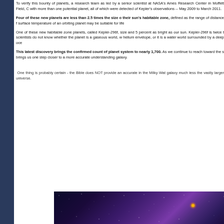To verify this bounty of planets, a research team as led by a senior scientist at NASA's Ames Research Center in Moffett Field, C with more than one potential planet, all of which were detected of Kepler's observations -- May 2009 to March 2011.
Four of these new planets are less than 2.5 times the size of their sun's habitable zone, defined as the range of distance f surface temperature of an orbiting planet may be suitable for life
One of these new habitable zone planets, called Kepler-296f, size and 5 percent as bright as our sun. Kepler-296f is twice t scientists do not know whether the planet is a gaseous world, w helium envelope, or it is a water world surrounded by a deep oce
This latest discovery brings the confirmed count of planet system to nearly 1,700. As we continue to reach toward the s brings us one step closer to a more accurate understanding galaxy.
One thing is probably certain - the Bible does NOT provide an accurate in the Milky Wat galaxy much less the vastly larger universe.
[Figure (photo): Space photograph showing a purple/blue nebula with stars and a bright yellow star or object visible against the dark space background.]